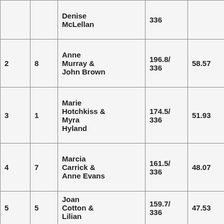|  |  | ... & Denise McLellan | 196.2/ 336 | 58.39 |
| 2 | 8 | Anne Murray & John Brown | 196.8/ 336 | 58.57 |
| 3 | 1 | Marie Hotchkiss & Myra Hyland | 174.5/ 336 | 51.93 |
| 4 | 7 | Marcia Carrick & Anne Evans | 161.5/ 336 | 48.07 |
| 5 | 5 | Joan Cotton & Lilian ... | 159.7/ 336 | 47.53 |